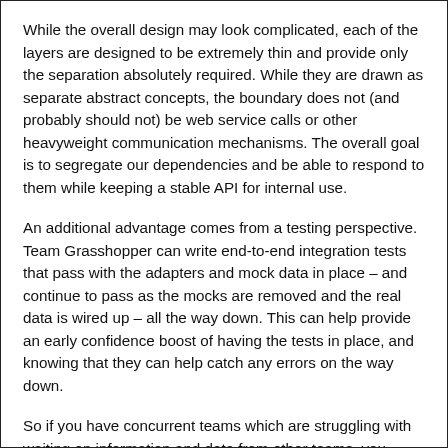While the overall design may look complicated, each of the layers are designed to be extremely thin and provide only the separation absolutely required. While they are drawn as separate abstract concepts, the boundary does not (and probably should not) be web service calls or other heavyweight communication mechanisms. The overall goal is to segregate our dependencies and be able to respond to them while keeping a stable API for internal use.
An additional advantage comes from a testing perspective. Team Grasshopper can write end-to-end integration tests that pass with the adapters and mock data in place – and continue to pass as the mocks are removed and the real data is wired up – all the way down. This can help provide an early confidence boost of having the tests in place, and knowing that they can help catch any errors on the way down.
So if you have concurrent teams which are struggling with waiting on information and data from other teams, you might find that a little adapting can go a long way.